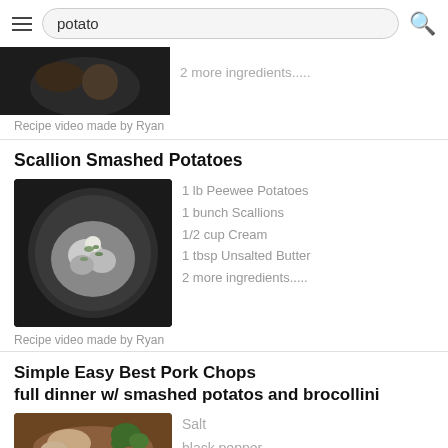potato
2 more ingredients.....
Recipe video made by Ryan
Scallion Smashed Potatoes
[Figure (photo): Photo of scallion smashed potatoes in a dark ceramic bowl]
1 lb Peewee Potatoes
1 bunch Scallions
1/2 cup Cream
1 tbsp Unsalted Butter
2 more ingredients.....
Recipe video made by Ryan
Simple Easy Best Pork Chops
full dinner w/ smashed potatos and brocollini
[Figure (photo): Photo of pork chop dinner with smashed potatoes and broccolini]
Salt
black pepper